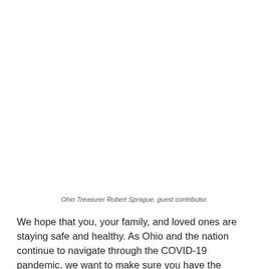Ohio Treasurer Robert Sprague, guest contributor.
We hope that you, your family, and loved ones are staying safe and healthy. As Ohio and the nation continue to navigate through the COVID-19 pandemic, we want to make sure you have the information you need.